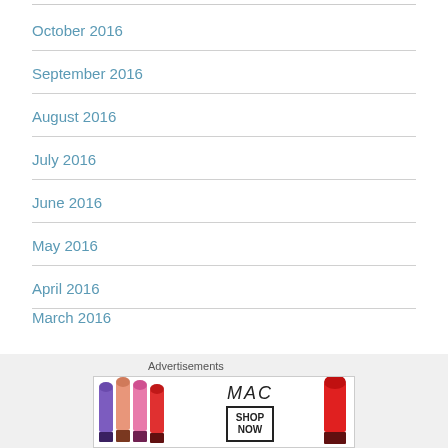October 2016
September 2016
August 2016
July 2016
June 2016
May 2016
April 2016
March 2016
Advertisements
[Figure (photo): MAC cosmetics advertisement showing lipsticks in various colors (purple, pink, coral, red) with MAC brand logo and SHOP NOW button]